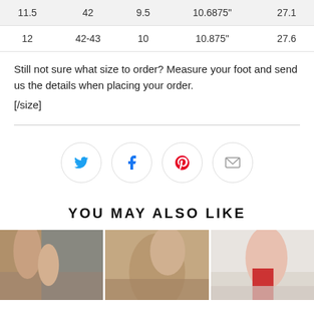| 11.5 | 42 | 9.5 | 10.6875" | 27.1 |
| 12 | 42-43 | 10 | 10.875" | 27.6 |
Still not sure what size to order? Measure your foot and send us the details when placing your order.
[/size]
[Figure (other): Four social media share icons in circles: Twitter (blue bird), Facebook (blue f), Pinterest (red P), Email (grey envelope)]
YOU MAY ALSO LIKE
[Figure (photo): Three product photos side by side showing shoes/sandals on feet]